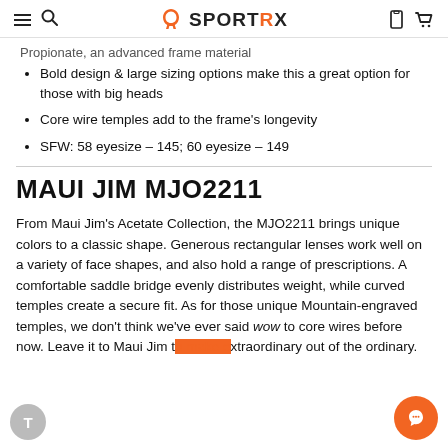SportRx
Propionate, an advanced frame material
Bold design & large sizing options make this a great option for those with big heads
Core wire temples add to the frame's longevity
SFW: 58 eyesize – 145; 60 eyesize – 149
MAUI JIM MJO2211
From Maui Jim's Acetate Collection, the MJO2211 brings unique colors to a classic shape. Generous rectangular lenses work well on a variety of face shapes, and also hold a range of prescriptions. A comfortable saddle bridge evenly distributes weight, while curved temples create a secure fit. As for those unique Mountain-engraved temples, we don't think we've ever said wow to core wires before now. Leave it to Maui Jim to make extraordinary out of the ordinary.